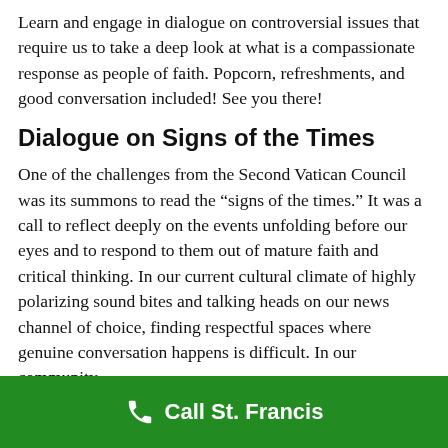Learn and engage in dialogue on controversial issues that require us to take a deep look at what is a compassionate response as people of faith. Popcorn, refreshments, and good conversation included! See you there!
Dialogue on Signs of the Times
One of the challenges from the Second Vatican Council was its summons to read the “signs of the times.” It was a call to reflect deeply on the events unfolding before our eyes and to respond to them out of mature faith and critical thinking. In our current cultural climate of highly polarizing sound bites and talking heads on our news channel of choice, finding respectful spaces where genuine conversation happens is difficult. In our community
Call St. Francis